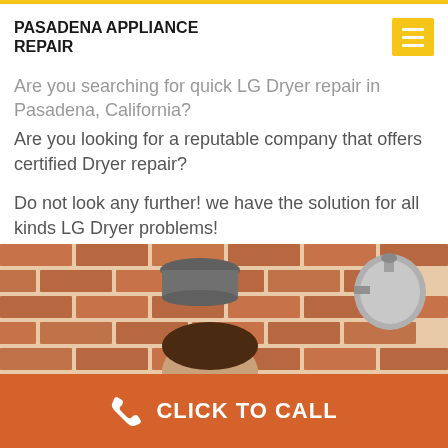PASADENA APPLIANCE REPAIR
Are you searching for quick LG Dryer repair in Pasadena, California?
Are you looking for a reputable company that offers certified Dryer repair?
Do not look any further! we have the solution for all kinds LG Dryer problems!
Call us now to get your faulty Dryer fixed. Certainly, we guarantee that your LG Dryer will work correctly. In addition, efficiently again.
[Figure (photo): Kitchen scene with brick wall background, pots and a kettle on a counter, with a person's head visible at the bottom]
CLICK TO CALL